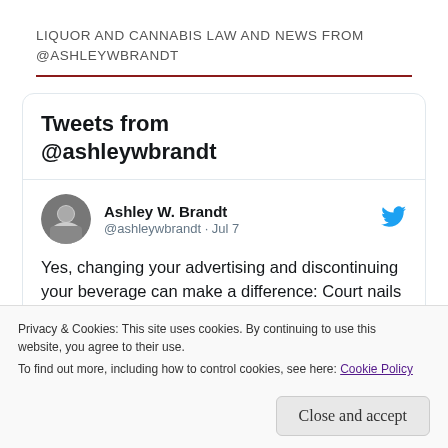LIQUOR AND CANNABIS LAW AND NEWS FROM @ASHLEYWBRANDT
Tweets from @ashleywbrandt
Ashley W. Brandt @ashleywbrandt · Jul 7
Yes, changing your advertising and discontinuing your beverage can make a difference: Court nails coffin shut on
Privacy & Cookies: This site uses cookies. By continuing to use this website, you agree to their use.
To find out more, including how to control cookies, see here: Cookie Policy